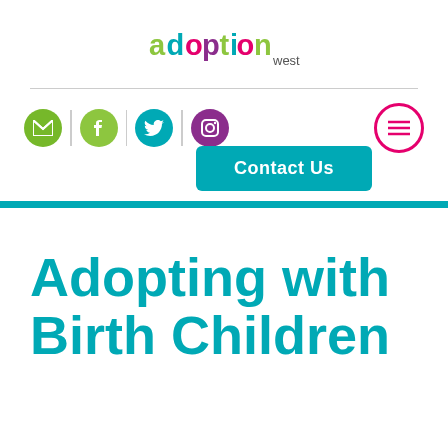[Figure (logo): Adoption West logo with colorful letters and 'west' subtitle]
[Figure (infographic): Navigation bar with social media icons (email, Facebook, Twitter, Instagram), a hamburger menu button, and a teal Contact Us button]
Adopting with Birth Children